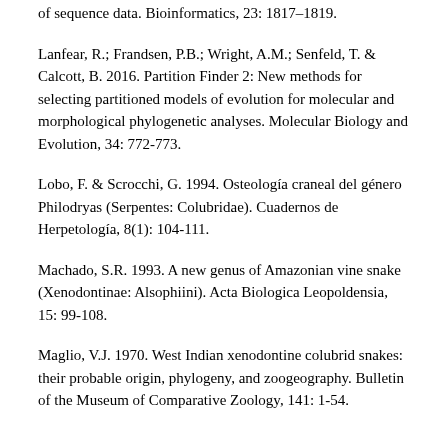of sequence data. Bioinformatics, 23: 1817–1819.
Lanfear, R.; Frandsen, P.B.; Wright, A.M.; Senfeld, T. & Calcott, B. 2016. Partition Finder 2: New methods for selecting partitioned models of evolution for molecular and morphological phylogenetic analyses. Molecular Biology and Evolution, 34: 772-773.
Lobo, F. & Scrocchi, G. 1994. Osteología craneal del género Philodryas (Serpentes: Colubridae). Cuadernos de Herpetología, 8(1): 104-111.
Machado, S.R. 1993. A new genus of Amazonian vine snake (Xenodontinae: Alsophiini). Acta Biologica Leopoldensia, 15: 99-108.
Maglio, V.J. 1970. West Indian xenodontine colubrid snakes: their probable origin, phylogeny, and zoogeography. Bulletin of the Museum of Comparative Zoology, 141: 1-54.